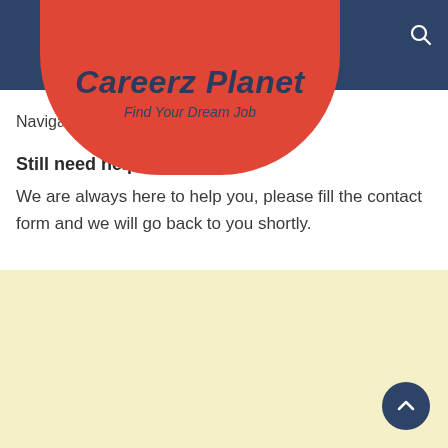Careerz Planet — Find Your Dream Job
Navigate to ... the related jobs.
Still need help?
We are always here to help you, please fill the contact form and we will go back to you shortly.